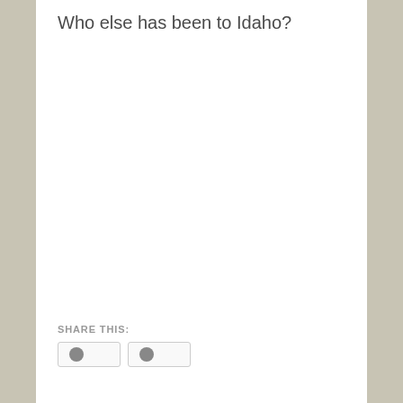Who else has been to Idaho?
SHARE THIS:
[Figure (other): Two share/social buttons with circular icons, partially visible at bottom of page]